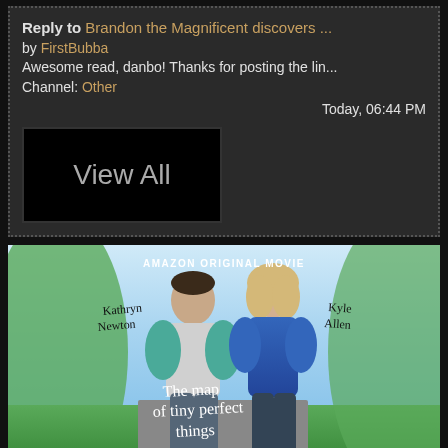Reply to Brandon the Magnificent discovers ... by FirstBubba
Awesome read, danbo! Thanks for posting the lin...
Channel: Other
Today, 06:44 PM
View All
[Figure (photo): Movie poster for 'The Map of Tiny Perfect Things', an Amazon Original Movie, featuring actors Kathryn Newton and Kyle Allen walking together, with stylized landscape background.]